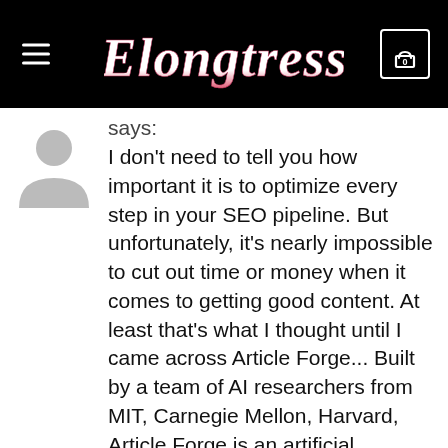Elongtress
says:
I don't need to tell you how important it is to optimize every step in your SEO pipeline. But unfortunately, it's nearly impossible to cut out time or money when it comes to getting good content. At least that's what I thought until I came across Article Forge... Built by a team of AI researchers from MIT, Carnegie Mellon, Harvard, Article Forge is an artificial intelligence (AI) powered content writer that uses deep learning models to write entire articles about any topic in less than 60 seconds. Their team trained AI models on millions of articles to